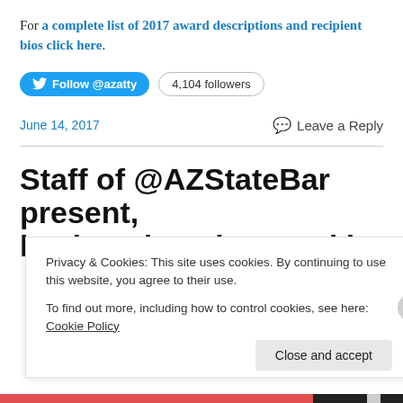For a complete list of 2017 award descriptions and recipient bios click here.
[Figure (other): Twitter Follow button showing @azatty with 4,104 followers badge]
June 14, 2017
Leave a Reply
Staff of @AZStateBar present, lead, and are honored by
Privacy & Cookies: This site uses cookies. By continuing to use this website, you agree to their use.
To find out more, including how to control cookies, see here: Cookie Policy
Close and accept